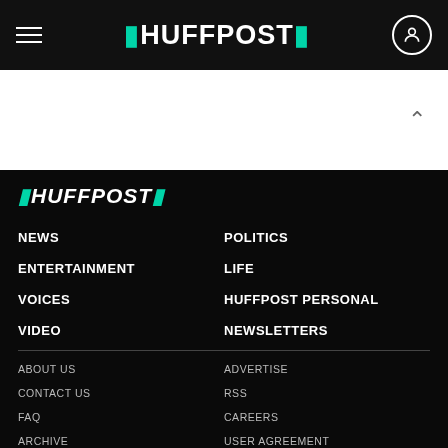HUFFPOST navigation bar
[Figure (logo): HuffPost logo in teal and white with hamburger menu and user icon on black top navigation bar]
[Figure (other): White area with upward chevron arrow]
[Figure (logo): HuffPost italic logo in white and teal in footer]
NEWS
POLITICS
ENTERTAINMENT
LIFE
VOICES
HUFFPOST PERSONAL
VIDEO
NEWSLETTERS
ABOUT US
ADVERTISE
CONTACT US
RSS
FAQ
CAREERS
ARCHIVE
USER AGREEMENT
COMMENT POLICY
DMCA POLICY
HUFFPOST PRESS ROOM
ACCESSIBILITY STATEMENT
PRIVACY POLICY
CONSENT PREFERENCES